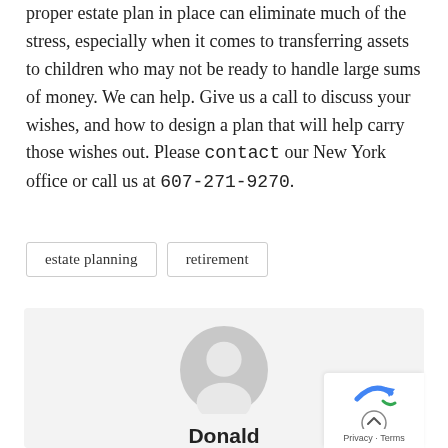proper estate plan in place can eliminate much of the stress, especially when it comes to transferring assets to children who may not be ready to handle large sums of money. We can help. Give us a call to discuss your wishes, and how to design a plan that will help carry those wishes out. Please contact our New York office or call us at 607-271-9270.
estate planning
retirement
[Figure (illustration): Generic user avatar silhouette in a circle, grey colored, inside a light grey author box.]
Donald